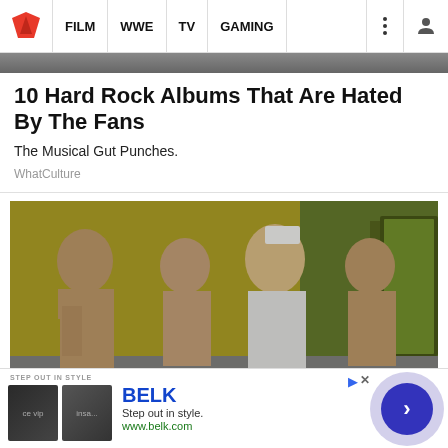FILM | WWE | TV | GAMING
[Figure (photo): Cropped top image strip from a WhatCulture article page]
10 Hard Rock Albums That Are Hated By The Fans
The Musical Gut Punches.
WhatCulture
[Figure (photo): Band photo showing four tattooed musicians, one woman in a nurse costume and three men, one shirtless on left, standing together against a yellow-tinted background]
[Figure (photo): Advertisement banner for BELK - Step out in style. www.belk.com, with two small thumbnail images on left and a circular blue navigation button on the right]